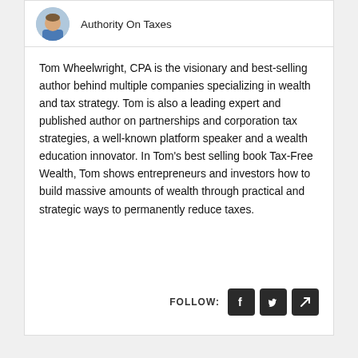[Figure (photo): Circular avatar photo of a man in a blue shirt]
Authority On Taxes
Tom Wheelwright, CPA is the visionary and best-selling author behind multiple companies specializing in wealth and tax strategy. Tom is also a leading expert and published author on partnerships and corporation tax strategies, a well-known platform speaker and a wealth education innovator. In Tom's best selling book Tax-Free Wealth, Tom shows entrepreneurs and investors how to build massive amounts of wealth through practical and strategic ways to permanently reduce taxes.
FOLLOW: